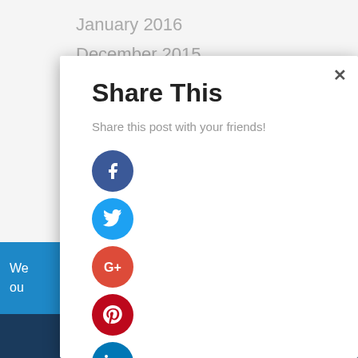January 2016
December 2015
Share This
Share this post with your friends!
[Figure (screenshot): Share dialog modal with social media icons: Facebook, Twitter, Google+, Pinterest, LinkedIn, Tumblr. Close button (×) in top right. Background shows a webpage with blue banner and navigation elements.]